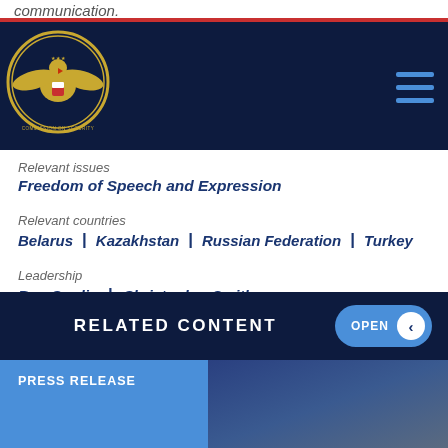communication.
[Figure (logo): Commission on Security and Cooperation in Europe seal/logo, gold eagle on dark blue background]
Relevant issues
Freedom of Speech and Expression
Relevant countries
Belarus | Kazakhstan | Russian Federation | Turkey
Leadership
Ben Cardin | Christopher Smith
RELATED CONTENT
PRESS RELEASE